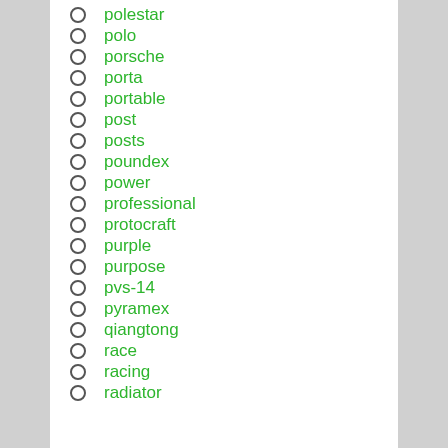polestar
polo
porsche
porta
portable
post
posts
poundex
power
professional
protocraft
purple
purpose
pvs-14
pyramex
qiangtong
race
racing
radiator